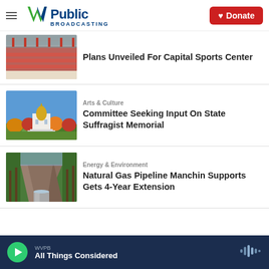[Figure (logo): WVPB West Virginia Public Broadcasting logo with W/V checkmark icon and Donate button]
[Figure (photo): Sports center interior with red seats and track]
Plans Unveiled For Capital Sports Center
[Figure (photo): West Virginia State Capitol building with golden dome surrounded by autumn trees and blue sky]
Arts & Culture
Committee Seeking Input On State Suffragist Memorial
[Figure (photo): Natural gas pipeline trench dug through rocky forested terrain]
Energy & Environment
Natural Gas Pipeline Manchin Supports Gets 4-Year Extension
WVPB All Things Considered